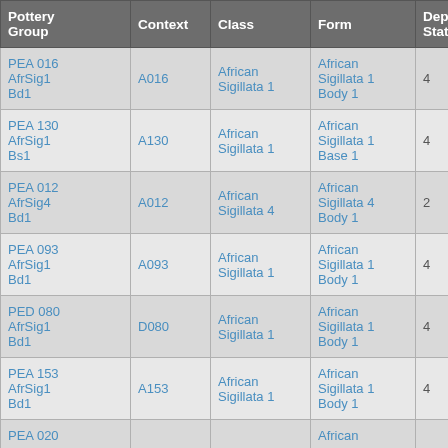| Pottery Group | Context | Class | Form | Depos Status | R Ct | R EVE |
| --- | --- | --- | --- | --- | --- | --- |
| PEA 016 AfrSig1 Bd1 | A016 | African Sigillata 1 | African Sigillata 1 Body 1 | 4 |  |  |
| PEA 130 AfrSig1 Bs1 | A130 | African Sigillata 1 | African Sigillata 1 Base 1 | 4 |  |  |
| PEA 012 AfrSig4 Bd1 | A012 | African Sigillata 4 | African Sigillata 4 Body 1 | 2 |  |  |
| PEA 093 AfrSig1 Bd1 | A093 | African Sigillata 1 | African Sigillata 1 Body 1 | 4 |  |  |
| PED 080 AfrSig1 Bd1 | D080 | African Sigillata 1 | African Sigillata 1 Body 1 | 4 |  |  |
| PEA 153 AfrSig1 Bd1 | A153 | African Sigillata 1 | African Sigillata 1 Body 1 | 4 |  |  |
| PEA 020 |  |  | African |  |  |  |